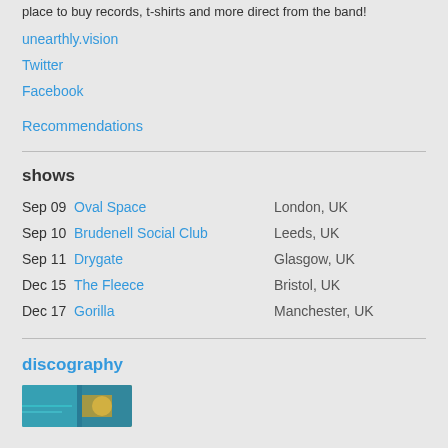place to buy records, t-shirts and more direct from the band!
unearthly.vision
Twitter
Facebook
Recommendations
shows
Sep 09  Oval Space  London, UK
Sep 10  Brudenell Social Club  Leeds, UK
Sep 11  Drygate  Glasgow, UK
Dec 15  The Fleece  Bristol, UK
Dec 17  Gorilla  Manchester, UK
discography
[Figure (photo): Album cover artwork showing a teal/blue and gold toned image]